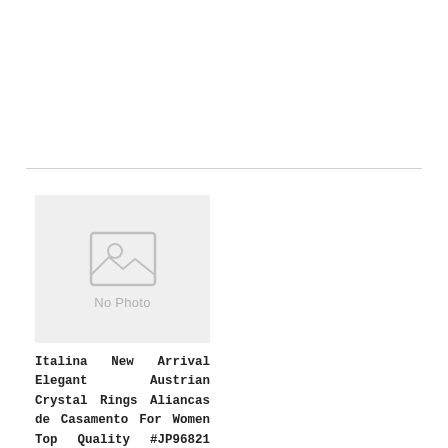[Figure (other): No Photo placeholder image with image icon and 'No Photo' text on light grey background]
Italina New Arrival Elegant Austrian Crystal Rings Aliancas de Casamento For Women Top Quality #JP96821 Yellow